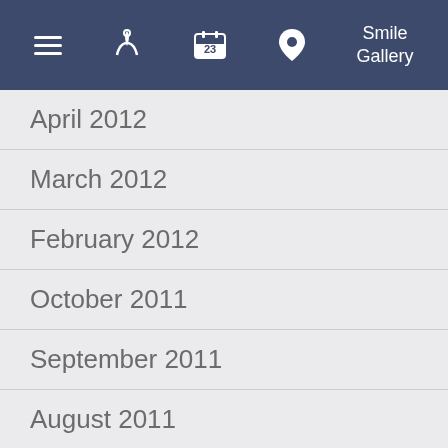Smile Gallery
April 2012
March 2012
February 2012
October 2011
September 2011
August 2011
July 2011
June 2011
May 2011
April 2011